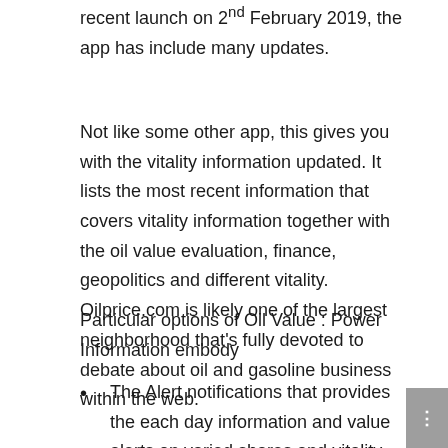recent launch on 2nd February 2019, the app has include many updates.
Not like some other app, this gives you with the vitality information updated. It lists the most recent information that covers vitality information together with the oil value evaluation, finance, geopolitics and different vitality. Oilprice.com is likely one of the largest neighborhood that’s fully devoted to debate about oil and gasoline business within the web.
Particular options of Oil Value : Power Information embody
The Alert notifications that provides the each day information and value alerts on varied shares and vitality matters.